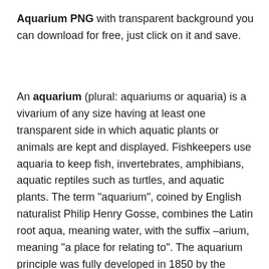Aquarium PNG with transparent background you can download for free, just click on it and save.
An aquarium (plural: aquariums or aquaria) is a vivarium of any size having at least one transparent side in which aquatic plants or animals are kept and displayed. Fishkeepers use aquaria to keep fish, invertebrates, amphibians, aquatic reptiles such as turtles, and aquatic plants. The term "aquarium", coined by English naturalist Philip Henry Gosse, combines the Latin root aqua, meaning water, with the suffix –arium, meaning "a place for relating to". The aquarium principle was fully developed in 1850 by the chemist Robert Warington, who explained that plants added to water in a container would give off enough oxygen to support animals, so long as the numbers of animals did not grow too large. The aquarium craze was